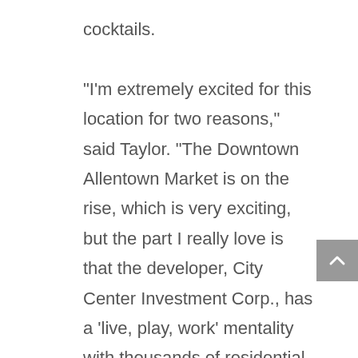cocktails.

“I’m extremely excited for this location for two reasons,” said Taylor. “The Downtown Allentown Market is on the rise, which is very exciting, but the part I really love is that the developer, City Center Investment Corp., has a ‘live, play, work’ mentality with thousands of residential apartments attached to the project,” said Taylor, who hails from Nutley, New Jersey. “City Center also has more apartments coming available closer to the PPL Center nearby, so we will be a big part of the (AHL) Phantoms season, with new customers coming over in droves. There’s also Disney on Ice, professional wrestling, concerts, and so much